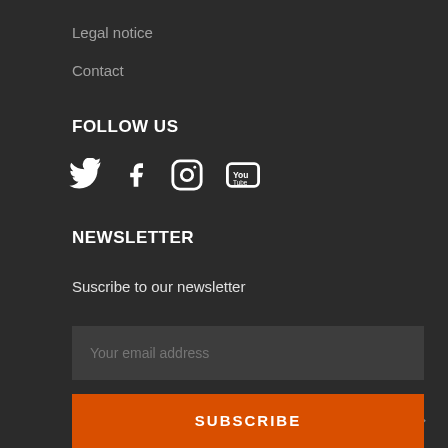Legal notice
Contact
FOLLOW US
[Figure (other): Social media icons: Twitter, Facebook, Instagram, YouTube]
NEWSLETTER
Suscribe to our newsletter
Your email address
SUBSCRIBE